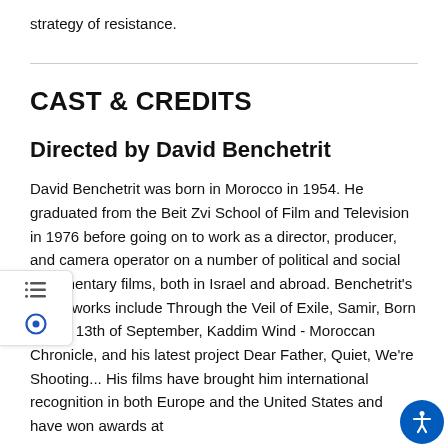strategy of resistance.
CAST & CREDITS
Directed by David Benchetrit
David Benchetrit was born in Morocco in 1954. He graduated from the Beit Zvi School of Film and Television in 1976 before going on to work as a director, producer, and camera operator on a number of political and social documentary films, both in Israel and abroad. Benchetrit's major works include Through the Veil of Exile, Samir, Born on the 13th of September, Kaddim Wind - Moroccan Chronicle, and his latest project Dear Father, Quiet, We're Shooting... His films have brought him international recognition in both Europe and the United States and have won awards at